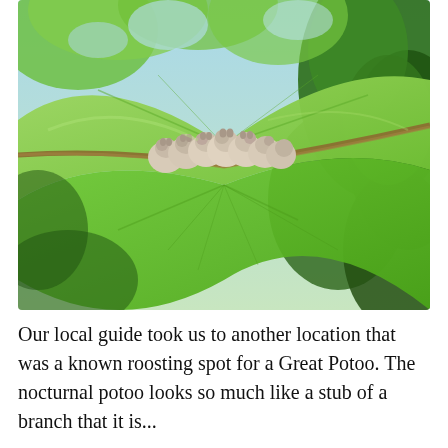[Figure (photo): A photograph taken from below looking up at a large green tropical leaf folded along its central rib. Several small white/cream-colored bats are roosting huddled together along the midrib of the leaf. Green tropical foliage and bright sky are visible in the background.]
Our local guide took us to another location that was a known roosting spot for a Great Potoo. The nocturnal potoo looks so much like a stub of a branch that it is...